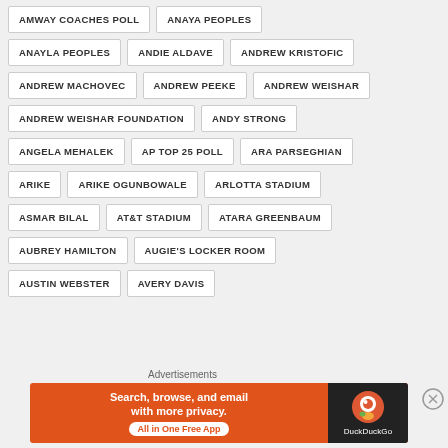AMWAY COACHES POLL
ANAYA PEOPLES
ANAYLA PEOPLES
ANDIE ALDAVE
ANDREW KRISTOFIC
ANDREW MACHOVEC
ANDREW PEEKE
ANDREW WEISHAR
ANDREW WEISHAR FOUNDATION
ANDY STRONG
ANGELA MEHALEK
AP TOP 25 POLL
ARA PARSEGHIAN
ARIKE
ARIKE OGUNBOWALE
ARLOTTA STADIUM
ASMAR BILAL
AT&T STADIUM
ATARA GREENBAUM
AUBREY HAMILTON
AUGIE'S LOCKER ROOM
AUSTIN WEBSTER
AVERY DAVIS
Advertisements
[Figure (infographic): DuckDuckGo advertisement banner: 'Search, browse, and email with more privacy. All in One Free App' on orange background with DuckDuckGo logo on dark side]